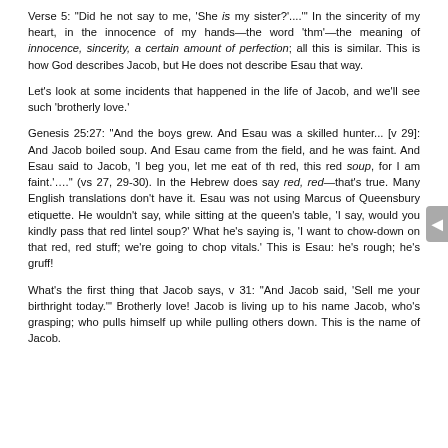Verse 5: "Did he not say to me, 'She is my sister?'...." In the sincerity of my heart, in the innocence of my hands—the word 'thm'—the meaning of innocence, sincerity, a certain amount of perfection; all this is similar. This is how God describes Jacob, but He does not describe Esau that way.
Let's look at some incidents that happened in the life of Jacob, and we'll see such 'brotherly love.'
Genesis 25:27: "And the boys grew. And Esau was a skilled hunter... [v 29]: And Jacob boiled soup. And Esau came from the field, and he was faint. And Esau said to Jacob, 'I beg you, let me eat of th red, this red soup, for I am faint.'...." (vs 27, 29-30). In the Hebrew does say red, red—that's true. Many English translations don't have it. Esau was not using Marcus of Queensbury etiquette. He wouldn't say, while sitting at the queen's table, 'I say, would you kindly pass that red lintel soup?' What he's saying is, 'I want to chow-down on that red, red stuff; we're going to chop vitals.' This is Esau: he's rough; he's gruff!
What's the first thing that Jacob says, v 31: "And Jacob said, 'Sell me your birthright today.'" Brotherly love! Jacob is living up to his name Jacob, who's grasping; who pulls himself up while pulling others down. This is the name of Jacob.